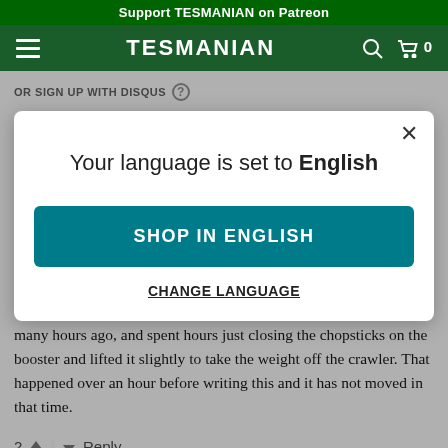Support TESMANIAN on Patreon
TESMANIAN
OR SIGN UP WITH DISQUS
[Figure (screenshot): Modal dialog with text 'Your language is set to English', a teal 'SHOP IN ENGLISH' button, and a 'CHANGE LANGUAGE' link]
many hours ago, and spent hours just closing the chopsticks on the booster and lifted it slightly to take the weight off the crawler. That happened over an hour before writing this and it has not moved in that time.
2  Reply